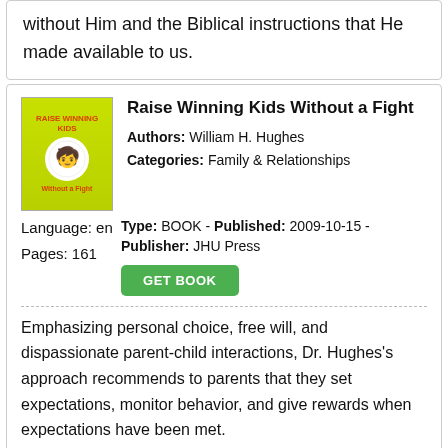without Him and the Biblical instructions that He made available to us.
Raise Winning Kids Without a Fight
Authors: William H. Hughes
Categories: Family & Relationships
Language: en
Pages: 161
Type: BOOK - Published: 2009-10-15 - Publisher: JHU Press
Emphasizing personal choice, free will, and dispassionate parent-child interactions, Dr. Hughes's approach recommends to parents that they set expectations, monitor behavior, and give rewards when expectations have been met.